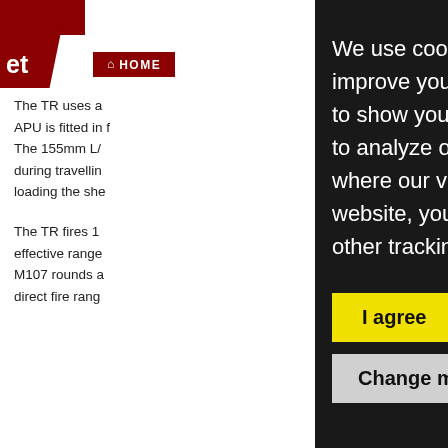et  HOME
The TR uses a APU is fitted in f The 155mm L/ during travellin loading the she
We use cookies and other tracking technologies to improve your browsing experience on our website, to show you personalized content and targeted ads, to analyze our website traffic, and to understand where our visitors are coming from. By browsing our website, you consent to our use of cookies and other tracking technologies.
I agree
Change my preferences
The TR fires 1 effective range M107 rounds a direct fire rang